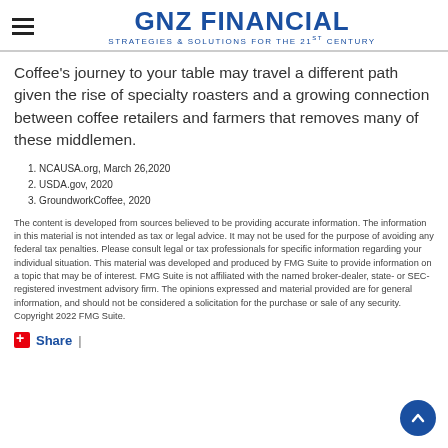GNZ FINANCIAL — STRATEGIES & SOLUTIONS FOR THE 21st CENTURY
Coffee's journey to your table may travel a different path given the rise of specialty roasters and a growing connection between coffee retailers and farmers that removes many of these middlemen.
1. NCAUSA.org, March 26,2020
2. USDA.gov, 2020
3. GroundworkCoffee, 2020
The content is developed from sources believed to be providing accurate information. The information in this material is not intended as tax or legal advice. It may not be used for the purpose of avoiding any federal tax penalties. Please consult legal or tax professionals for specific information regarding your individual situation. This material was developed and produced by FMG Suite to provide information on a topic that may be of interest. FMG Suite is not affiliated with the named broker-dealer, state- or SEC-registered investment advisory firm. The opinions expressed and material provided are for general information, and should not be considered a solicitation for the purchase or sale of any security. Copyright 2022 FMG Suite.
Share  |